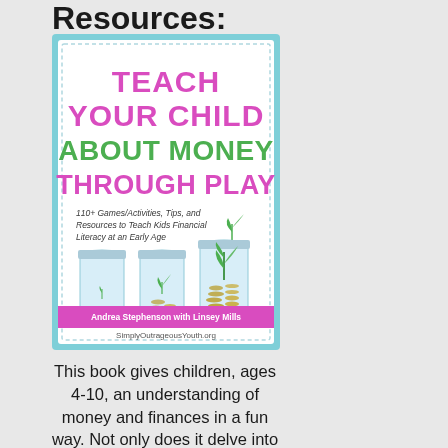Resources:
[Figure (illustration): Book cover: 'Teach Your Child About Money Through Play' by Andrea Stephenson with Linsey Mills. SimplyOutrageousYouth.org. Features three mason jars with coins and a plant growing, on a light blue background. Subtitle: 110+ Games/Activities, Tips, and Resources to Teach Kids Financial Literacy at an Early Age.]
This book gives children, ages 4-10, an understanding of money and finances in a fun way. Not only does it delve into ideas that make